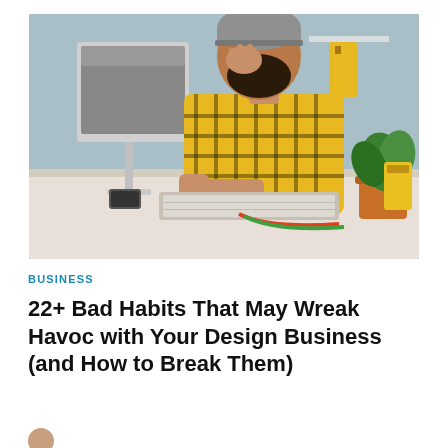[Figure (photo): A bearded man wearing a grey beanie and yellow-black plaid shirt sits at a desk in front of an iMac computer, holding his hand to his face in a stressed or thinking pose. A keyboard, phone, and plant are visible on the desk.]
BUSINESS
22+ Bad Habits That May Wreak Havoc with Your Design Business (and How to Break Them)